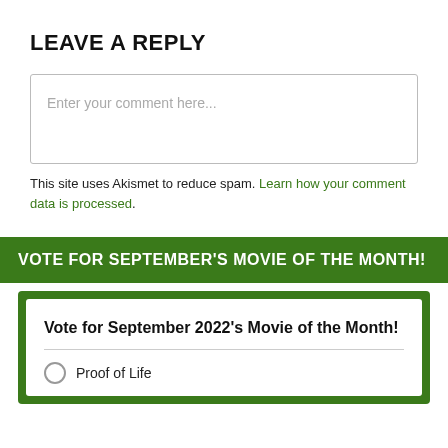LEAVE A REPLY
[Figure (screenshot): Comment text input box with placeholder text 'Enter your comment here...']
This site uses Akismet to reduce spam. Learn how your comment data is processed.
VOTE FOR SEPTEMBER'S MOVIE OF THE MONTH!
Vote for September 2022's Movie of the Month!
Proof of Life